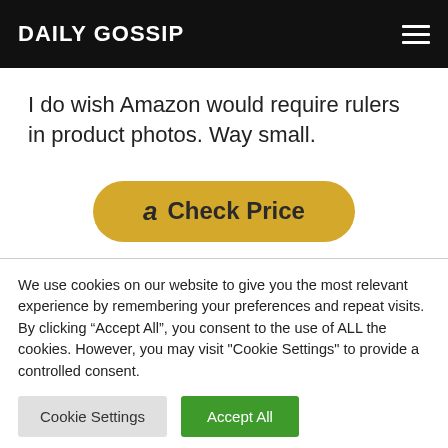DAILY GOSSIP
I do wish Amazon would require rulers in product photos. Way small.
[Figure (other): Amazon Check Price button in gold/yellow rounded rectangle with Amazon 'a' icon]
We use cookies on our website to give you the most relevant experience by remembering your preferences and repeat visits. By clicking “Accept All”, you consent to the use of ALL the cookies. However, you may visit "Cookie Settings" to provide a controlled consent.
Cookie Settings   Accept All